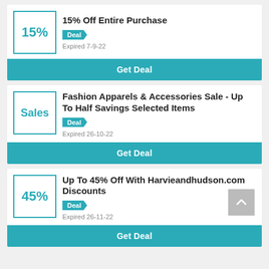15% Off Entire Purchase
Deal
Expired 7-9-22
Get Deal
Fashion Apparels & Accessories Sale - Up To Half Savings Selected Items
Deal
Expired 26-10-22
Get Deal
Up To 45% Off With Harvieandhudson.com Discounts
Deal
Expired 26-11-22
Get Deal